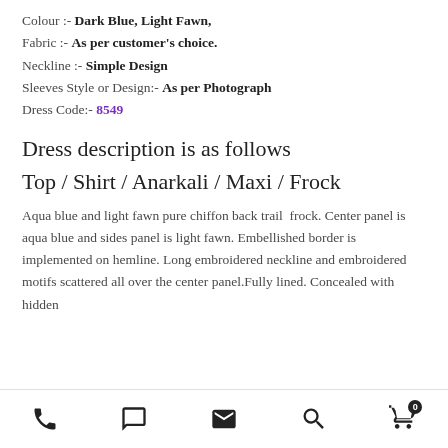Colour :- Dark Blue, Light Fawn,
Fabric :- As per customer's choice.
Neckline :- Simple Design
Sleeves Style or Design:- As per Photograph
Dress Code:- 8549
Dress description is as follows
Top / Shirt / Anarkali / Maxi / Frock
Aqua blue and light fawn pure chiffon back trail  frock. Center panel is aqua blue and sides panel is light fawn. Embellished border is implemented on hemline. Long embroidered neckline and embroidered motifs scattered all over the center panel.Fully lined. Concealed with hidden